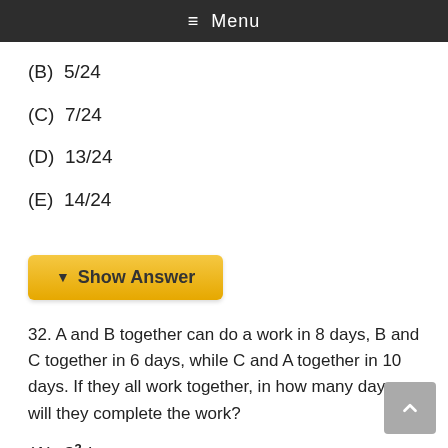≡ Menu
(B)  5/24
(C)  7/24
(D)  13/24
(E)  14/24
▼ Show Answer
32. A and B together can do a work in 8 days, B and C together in 6 days, while C and A together in 10 days. If they all work together, in how many days will they complete the work?
(A)  3 3/11 days